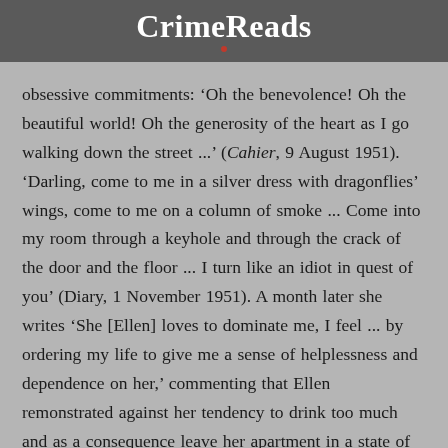CrimeReads
obsessive commitments: ‘Oh the benevolence! Oh the beautiful world! Oh the generosity of the heart as I go walking down the street ...’ (Cahier, 9 August 1951). ‘Darling, come to me in a silver dress with dragonflies’ wings, come to me on a column of smoke ... Come into my room through a keyhole and through the crack of the door and the floor ... I turn like an idiot in quest of you’ (Diary, 1 November 1951). A month later she writes ‘She [Ellen] loves to dominate me, I feel ... by ordering my life to give me a sense of helplessness and dependence on her,’ commenting that Ellen remonstrated against her tendency to drink too much and as a consequence leave her apartment in a state of